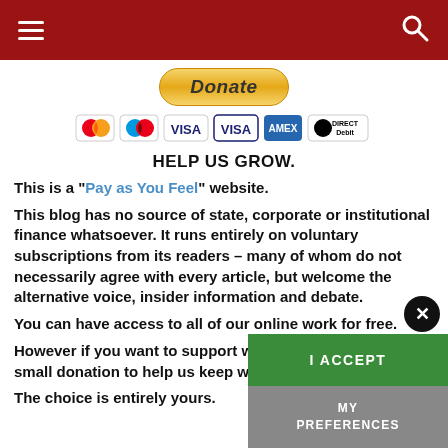Navigation header bar with hamburger menu and search icon
[Figure (other): PayPal Donate button (yellow pill-shaped button with italic bold 'Donate' text)]
[Figure (other): Payment method icons row: Mastercard, Maestro, VISA, VISA Electron, American Express, Direct Debit]
HELP US GROW.
This is a "Pay as You Feel" website.
This blog has no source of state, corporate or institutional finance whatsoever. It runs entirely on voluntary subscriptions from its readers – many of whom do not necessarily agree with every article, but welcome the alternative voice, insider information and debate.
You can have access to all of our online work for free.
However if you want to support what we do, please make a small donation to help us keep writing and staying ad-free.
The choice is entirely yours.
[Figure (other): Cookie consent dialog with close X button, green 'I ACCEPT' button, and grey 'MY PREFERENCES' button]